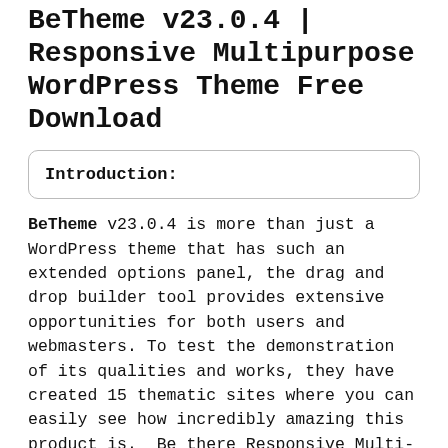BeTheme v23.0.4 | Responsive Multipurpose WordPress Theme Free Download
Introduction:
BeTheme v23.0.4 is more than just a WordPress theme that has such an extended options panel, the drag and drop builder tool provides extensive opportunities for both users and webmasters. To test the demonstration of its qualities and works, they have created 15 thematic sites where you can easily see how incredibly amazing this product is.  Be there Responsive Multi-purpose WordPress theme is the best responsive WP template ever optimized by SEO using advanced search engine optimization factors by SEO